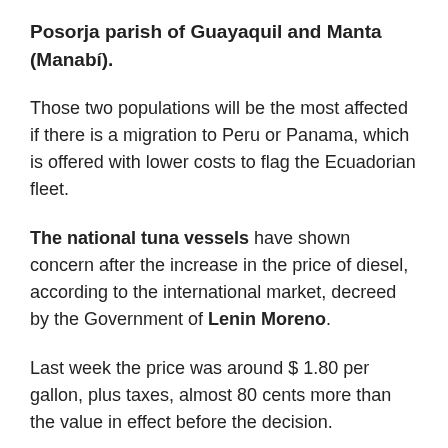Posorja parish of Guayaquil and Manta (Manabí).
Those two populations will be the most affected if there is a migration to Peru or Panama, which is offered with lower costs to flag the Ecuadorian fleet.
The national tuna vessels have shown concern after the increase in the price of diesel, according to the international market, decreed by the Government of Lenin Moreno.
Last week the price was around $ 1.80 per gallon, plus taxes, almost 80 cents more than the value in effect before the decision.
According to Lucía Fernández, president of the